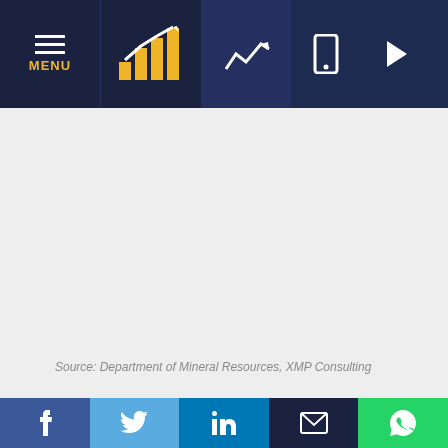Navigation bar with MENU, logo, chart icon, mobile, play, search, and login icons
[Figure (other): Large grey content area (chart or image placeholder) with source attribution at bottom left]
Source: Department of Mineral Resources, XMP Consulting
Expanding the data into a richer...
Social share bar: Facebook, Twitter, LinkedIn, Email, WhatsApp